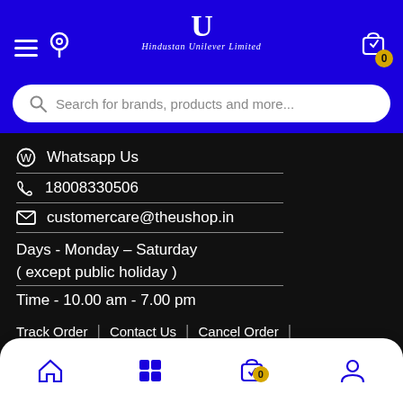[Figure (screenshot): Hindustan Unilever Limited website header with blue background, hamburger menu, location icon, HUL logo, and cart icon with badge showing 0]
Search for brands, products and more...
Whatsapp Us
18008330506
customercare@theushop.in
Days - Monday – Saturday
( except public holiday )
Time - 10.00 am - 7.00 pm
Track Order | Contact Us | Cancel Order |
Terms & Conditions | FAQ | Cookie Notice |
Shipping & Return Policy | Privacy Notice | Site Map
[Figure (screenshot): Bottom navigation bar with home, grid, cart (badge 0), and profile icons on white rounded bar]